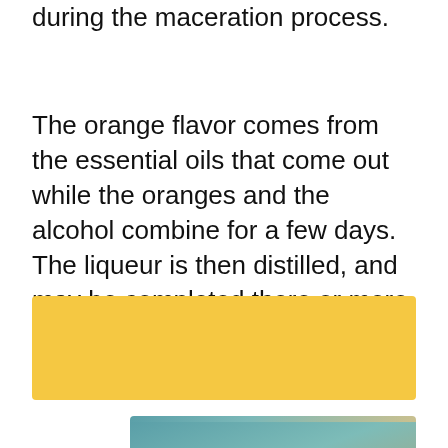during the maceration process.
The orange flavor comes from the essential oils that come out while the oranges and the alcohol combine for a few days. The liqueur is then distilled, and may be completed there or more beet sugar, water, or alcohol may be added.
[Figure (other): Yellow/golden colored rectangular banner block]
[Figure (photo): Photo of a citrus drink or lemon slice on a teal/grey gradient background, partially visible]